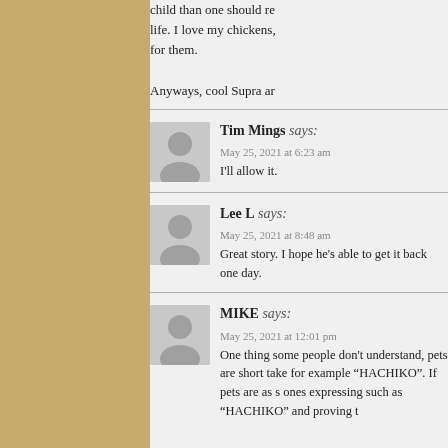child than one should re life. I love my chickens, for them.

Anyways, cool Supra ar
Tim Mings says:
May 25, 2021 at 6:23 am
I'll allow it.
Lee L says:
May 25, 2021 at 8:48 am
Great story. I hope he's able to get it back one day.
MIKE says:
May 25, 2021 at 12:01 pm
One thing some people don't understand, pets are short take for example "HACHIKO". If pets are as s ones expressing such as "HACHIKO" and proving t